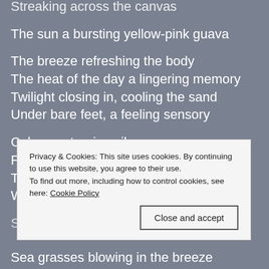Streaking across the canvas
The sun a bursting yellow-pink guava
The breeze refreshing the body
The heat of the day a lingering memory
Twilight closing in, cooling the sand
Under bare feet, a feeling sensory
Calm sea turning silver grey
From the sky's purple haze
The evening moon still light and pale
With the last of the suns rays
Shadows slowly disappearing
Sea grasses blowing in the breeze
Privacy & Cookies: This site uses cookies. By continuing to use this website, you agree to their use. To find out more, including how to control cookies, see here: Cookie Policy
Close and accept